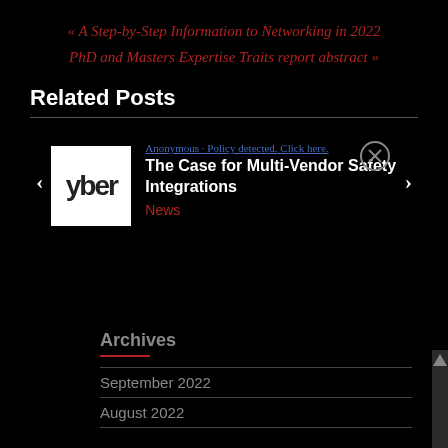« A Step-by-Step Information to Networking in 2022
PhD and Masters Expertise Traits report abstract »
Related Posts
[Figure (screenshot): A slider widget showing a related post card with a thumbnail image of 'yber' text on white background, post title 'The Case for Multi-Vendor Safety Integrations', category 'News', an anonymous link overlay, a close button, and left/right navigation arrows.]
Archives
September 2022
August 2022